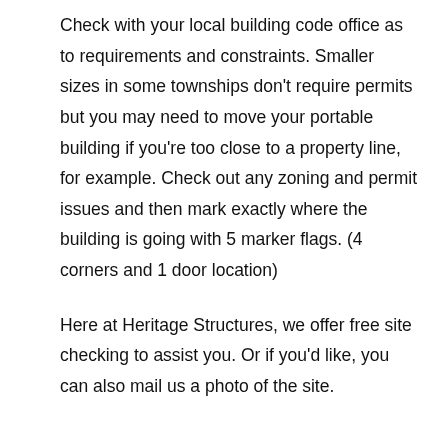Check with your local building code office as to requirements and constraints. Smaller sizes in some townships don't require permits but you may need to move your portable building if you're too close to a property line, for example. Check out any zoning and permit issues and then mark exactly where the building is going with 5 marker flags. (4 corners and 1 door location)
Here at Heritage Structures, we offer free site checking to assist you. Or if you'd like, you can also mail us a photo of the site.